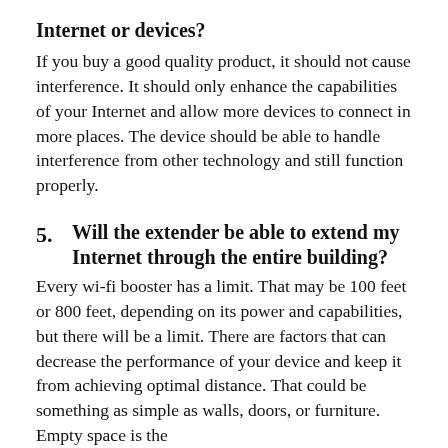Internet or devices?
If you buy a good quality product, it should not cause interference. It should only enhance the capabilities of your Internet and allow more devices to connect in more places. The device should be able to handle interference from other technology and still function properly.
5. Will the extender be able to extend my Internet through the entire building?
Every wi-fi booster has a limit. That may be 100 feet or 800 feet, depending on its power and capabilities, but there will be a limit. There are factors that can decrease the performance of your device and keep it from achieving optimal distance. That could be something as simple as walls, doors, or furniture. Empty space is the